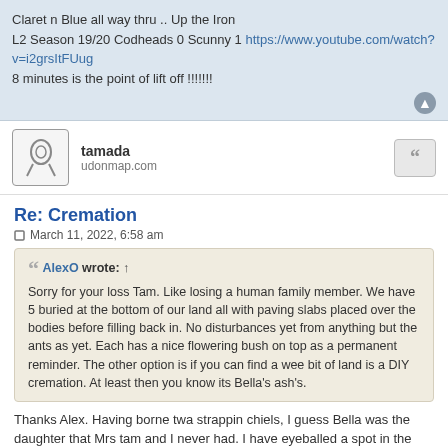Claret n Blue all way thru .. Up the Iron
L2 Season 19/20 Codheads 0 Scunny 1 https://www.youtube.com/watch?v=i2grsItFUug
8 minutes is the point of lift off !!!!!!!
tamada
udonmap.com
Re: Cremation
March 11, 2022, 6:58 am
AlexO wrote: †
Sorry for your loss Tam. Like losing a human family member. We have 5 buried at the bottom of our land all with paving slabs placed over the bodies before filling back in. No disturbances yet from anything but the ants as yet. Each has a nice flowering bush on top as a permanent reminder. The other option is if you can find a wee bit of land is a DIY cremation. At least then you know its Bella's ash's.
Thanks Alex. Having borne twa strappin chiels, I guess Bella was the daughter that Mrs tam and I never had. I have eyeballed a spot in the sun beside the wall near our water pump where bro-in-law used to coral his prized fighting chooks.
You don't have to be first from this one...